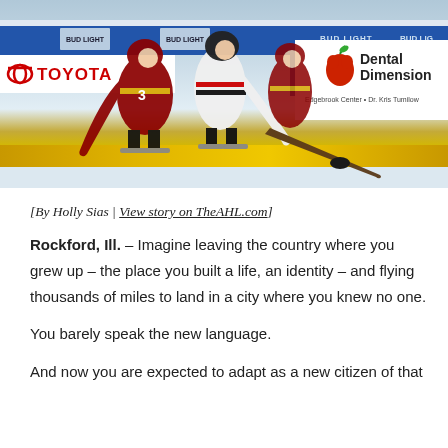[Figure (photo): Hockey players on ice rink during an AHL game. Players in maroon/gold (IceHogs-style) and white/black (Rockford IceHogs) uniforms compete for the puck. Rink boards show Toyota, Bud Light, and Dental Dimensions sponsorship signs.]
[By Holly Sias | View story on TheAHL.com]
Rockford, Ill. – Imagine leaving the country where you grew up – the place you built a life, an identity – and flying thousands of miles to land in a city where you knew no one.

You barely speak the new language.

And now you are expected to adapt as a new citizen of that